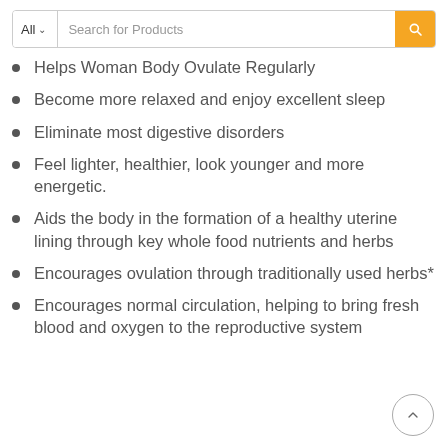[Figure (screenshot): Search bar with 'All' dropdown and 'Search for Products' placeholder text, orange search button]
Helps Woman Body Ovulate Regularly
Become more relaxed and enjoy excellent sleep
Eliminate most digestive disorders
Feel lighter, healthier, look younger and more energetic.
Aids the body in the formation of a healthy uterine lining through key whole food nutrients and herbs
Encourages ovulation through traditionally used herbs*
Encourages normal circulation, helping to bring fresh blood and oxygen to the reproductive system